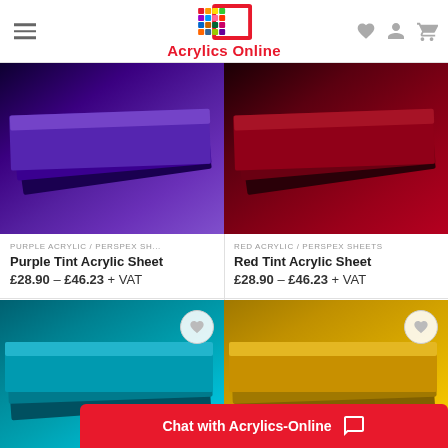Acrylics Online
[Figure (photo): Purple tint acrylic sheets stacked at an angle showing layered edges]
[Figure (photo): Red tint acrylic sheets stacked at an angle showing layered edges]
PURPLE ACRYLIC / PERSPEX SH...
Purple Tint Acrylic Sheet
£28.90 – £46.23 + VAT
RED ACRYLIC / PERSPEX SHEETS
Red Tint Acrylic Sheet
£28.90 – £46.23 + VAT
[Figure (photo): Teal/turquoise acrylic sheets stacked]
[Figure (photo): Yellow acrylic sheets stacked]
Chat with Acrylics-Online